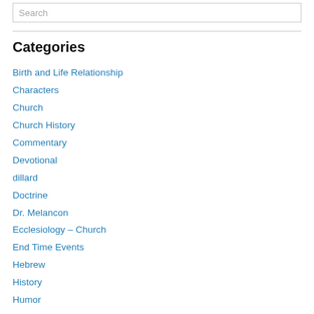Search
Categories
Birth and Life Relationship
Characters
Church
Church History
Commentary
Devotional
dillard
Doctrine
Dr. Melancon
Ecclesiology – Church
End Time Events
Hebrew
History
Humor
Inspirational